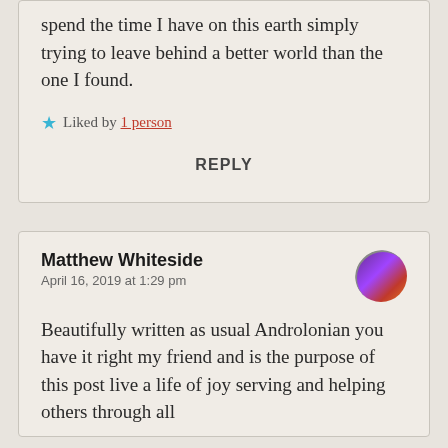spend the time I have on this earth simply trying to leave behind a better world than the one I found.
Liked by 1 person
REPLY
Matthew Whiteside
April 16, 2019 at 1:29 pm
Beautifully written as usual Androlonian you have it right my friend and is the purpose of this post live a life of joy serving and helping others through all